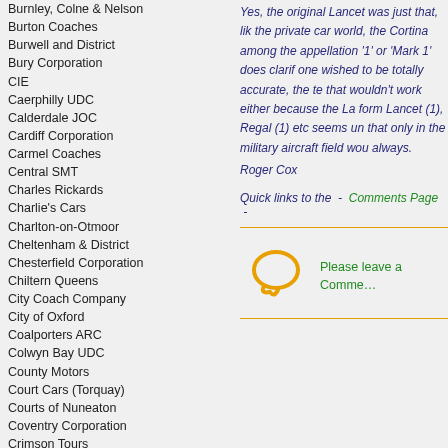Burnley, Colne & Nelson
Burton Coaches
Burwell and District
Bury Corporation
CIE
Caerphilly UDC
Calderdale JOC
Cardiff Corporation
Carmel Coaches
Central SMT
Charles Rickards
Charlie's Cars
Charlton-on-Otmoor
Cheltenham & District
Chesterfield Corporation
Chiltern Queens
City Coach Company
City of Oxford
Coalporters ARC
Colwyn Bay UDC
County Motors
Court Cars (Torquay)
Courts of Nuneaton
Coventry Corporation
Crimson Tours
Crosville
Cumberland
D. J. Jones (Crymych)
Darlington Corporation
Darwen Corporation
Yes, the original Lancet was just that, like the private car world, the Cortina among others, the appellation '1' or 'Mark 1' does clarify. If one wished to be totally accurate, the te... that wouldn't work either because the La... form Lancet (1), Regal (1) etc seems un... that only in the military aircraft field wou... always.
Roger Cox
Quick links to the  -  Comments Page  -
Please leave a Comme...